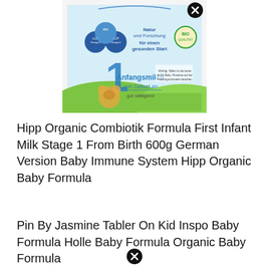[Figure (photo): HiPP Organic Combiotik baby formula tin/box product image showing a German packaging with 'Anfangsmilch von Geburt an' label, blue and green design, baby bear illustration, and BIO certification logo. Text visible: 'Nach dem Vorbild der Natur', 'Natur und Forschung für einen gesunden Start', 'LCP Omega 3', 'LCP Omega 6', 'Anfangsmilch von Geburt an gut sättigend'. A close/cancel icon (circled X) appears overlaid on the image.]
Hipp Organic Combiotik Formula First Infant Milk Stage 1 From Birth 600g German Version Baby Immune System Hipp Organic Baby Formula
Pin By Jasmine Tabler On Kid Inspo Baby Formula Holle Baby Formula Organic Baby Formula